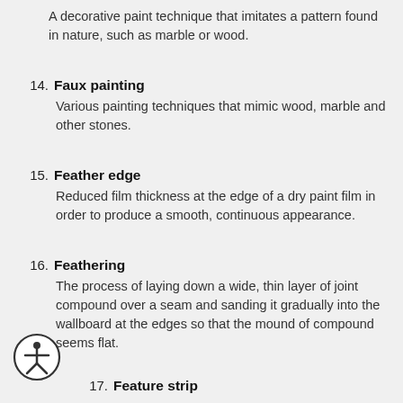A decorative paint technique that imitates a pattern found in nature, such as marble or wood.
14. Faux painting
Various painting techniques that mimic wood, marble and other stones.
15. Feather edge
Reduced film thickness at the edge of a dry paint film in order to produce a smooth, continuous appearance.
16. Feathering
The process of laying down a wide, thin layer of joint compound over a seam and sanding it gradually into the wallboard at the edges so that the mound of compound seems flat.
17. Feature strip